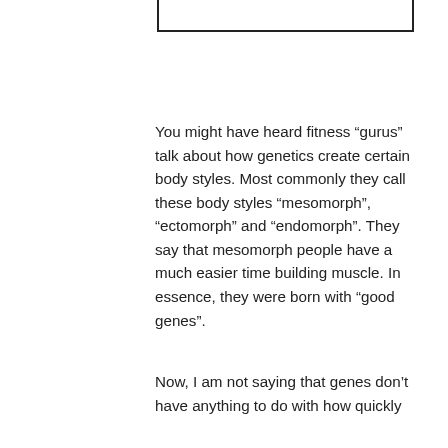[Figure (other): Bottom portion of a rectangular box/border, showing only the bottom edge and partial sides]
You might have heard fitness “gurus” talk about how genetics create certain body styles. Most commonly they call these body styles “mesomorph”, “ectomorph” and “endomorph”. They say that mesomorph people have a much easier time building muscle. In essence, they were born with “good genes”.
Now, I am not saying that genes don’t have anything to do with how quickly